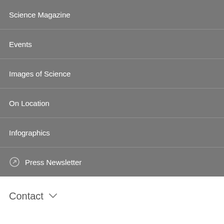Science Magazine
Events
Images of Science
On Location
Infographics
↗ Press Newsletter
Contact ∨
More information ∨